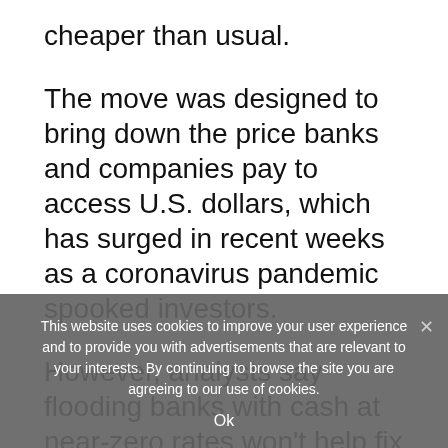cheaper than usual.
The move was designed to bring down the price banks and companies pay to access U.S. dollars, which has surged in recent weeks as a coronavirus pandemic spooked investors.
However, analysts say flooding banks with cash at near-zero rates won’t help fix dislocations in credit markets caused by fear of lending to borrowers with uncertain...
This website uses cookies to improve your user experience and to provide you with advertisements that are relevant to your interests. By continuing to browse the site you are agreeing to our use of cookies.
Ok